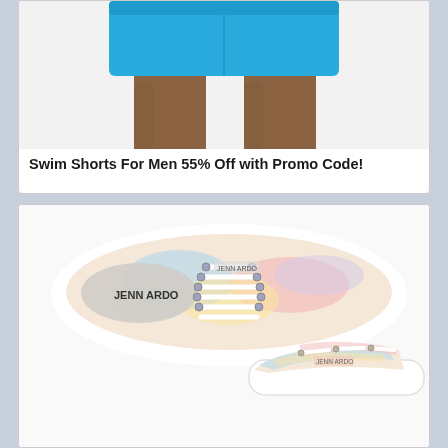[Figure (photo): Man's legs from waist down wearing bright blue swim shorts, product photo on light background]
Swim Shorts For Men 55% Off with Promo Code!
[Figure (photo): Two Jenn Ardor brand tie-dye pastel canvas sneakers shown from above and at an angle, with white laces and rubber sole, on white background]